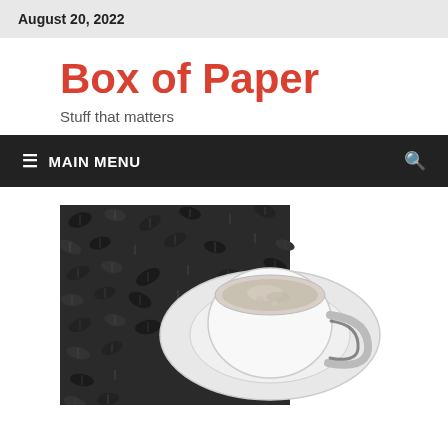August 20, 2022
Box of Paper
Stuff that matters
≡  MAIN MENU
[Figure (photo): Black and white overhead photo of a white coffee cup on a saucer surrounded by scattered coffee beans]